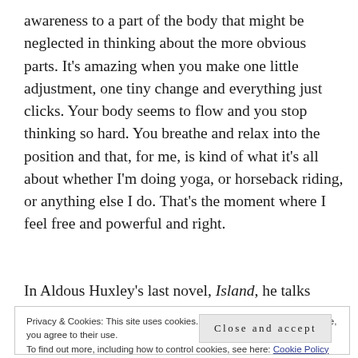awareness to a part of the body that might be neglected in thinking about the more obvious parts. It's amazing when you make one little adjustment, one tiny change and everything just clicks. Your body seems to flow and you stop thinking so hard. You breathe and relax into the position and that, for me, is kind of what it's all about whether I'm doing yoga, or horseback riding, or anything else I do. That's the moment where I feel free and powerful and right.
In Aldous Huxley's last novel, Island, he talks about
Privacy & Cookies: This site uses cookies. By continuing to use this website, you agree to their use.
To find out more, including how to control cookies, see here: Cookie Policy
Close and accept